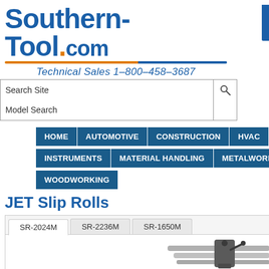[Figure (logo): Southern-Tool.com logo with blue bold text, orange underline accent, and italic tagline 'Technical Sales 1-800-458-3687']
Search Site
Model Search
HOME
AUTOMOTIVE
CONSTRUCTION
HVAC
INDUSTRIAL
INSTRUMENTS
MATERIAL HANDLING
METALWORKING
TOOLING
WOODWORKING
JET Slip Rolls
SR-2024M
SR-2236M
SR-1650M
[Figure (photo): Partial view of a JET Slip Roll machine showing metal rollers and a handle/crank mechanism on the right side]